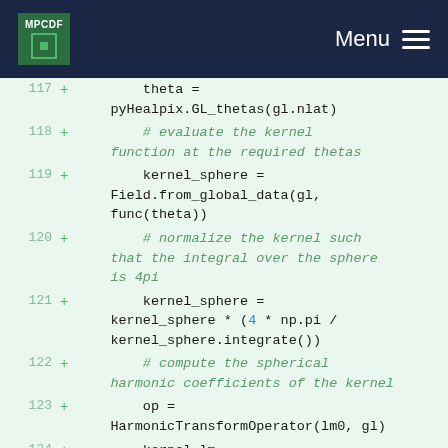MPCDF  Menu
[Figure (screenshot): Code diff showing Python source lines 117-124 with added lines (green +) on a light green background. Lines show pyHealpix GL_thetas, kernel_sphere field initialization, kernel normalization, and harmonic transform operations.]